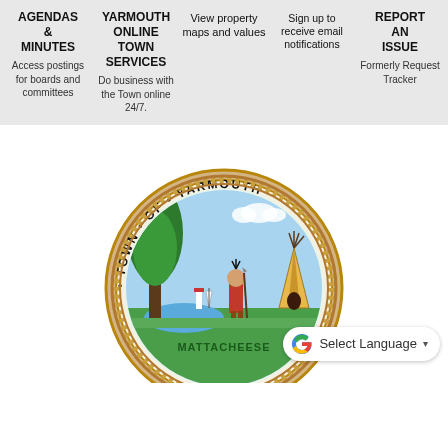AGENDAS & MINUTES
Access postings for boards and committees
YARMOUTH ONLINE TOWN SERVICES
Do business with the Town online 24/7.
ASSESSORE-ALERTS
View property maps and values
Sign up to receive email notifications
REPORT AN ISSUE
Formerly Request Tracker
[Figure (logo): Town of Yarmouth seal showing a Native American figure, teepee, trees, water, and the text MATTACHEESE around the bottom edge, partially cropped]
Select Language